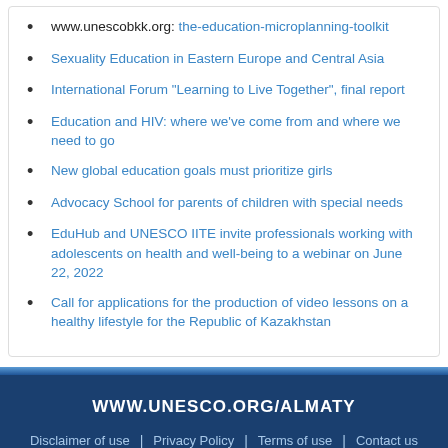www.unescobkk.org: the-education-microplanning-toolkit
Sexuality Education in Eastern Europe and Central Asia
International Forum "Learning to Live Together", final report
Education and HIV: where we've come from and where we need to go
New global education goals must prioritize girls
Advocacy School for parents of children with special needs
EduHub and UNESCO IITE invite professionals working with adolescents on health and well-being to a webinar on June 22, 2022
Call for applications for the production of video lessons on a healthy lifestyle for the Republic of Kazakhstan
WWW.UNESCO.ORG/ALMATY  |  Disclaimer of use  |  Privacy Policy  |  Terms of use  |  Contact us